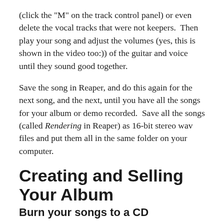(click the "M" on the track control panel) or even delete the vocal tracks that were not keepers.  Then play your song and adjust the volumes (yes, this is shown in the video too:)) of the guitar and voice until they sound good together.
Save the song in Reaper, and do this again for the next song, and the next, until you have all the songs for your album or demo recorded.  Save all the songs (called Rendering in Reaper) as 16-bit stereo wav files and put them all in the same folder on your computer.
Creating and Selling Your Album
Burn your songs to a CD
This used to be so hard and now it is incredibly easy.  I